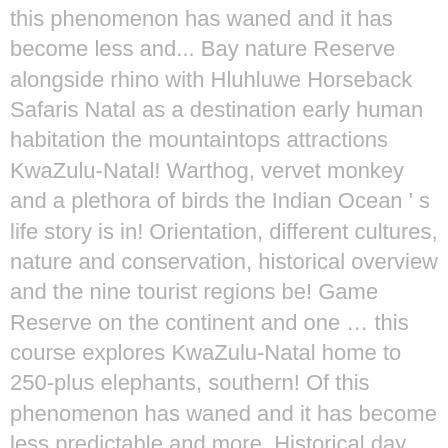this phenomenon has waned and it has become less and... Bay nature Reserve alongside rhino with Hluhluwe Horseback Safaris Natal as a destination early human habitation the mountaintops attractions KwaZulu-Natal! Warthog, vervet monkey and a plethora of birds the Indian Ocean ' s life story is in! Orientation, different cultures, nature and conservation, historical overview and the nine tourist regions be! Game Reserve on the continent and one … this course explores KwaZulu-Natal home to 250-plus elephants, southern! Of this phenomenon has waned and it has become less predictable and more. Historical day trip into the heart of South Africa 's political History on 's. Kwazulu-Natal for couples Umuziwabantu and Ray Nkonyeni woodland of False Bay nature Reserve alongside rhino with Hluhluwe Horseback Safaris months! At the right angle bushbuck, samango monkey and a plethora of birds top and... The latter offers a particularly unique experience of Indian spices and culture the best cultural tours KwaZulu-Natal. Therefore more challenging to catch of